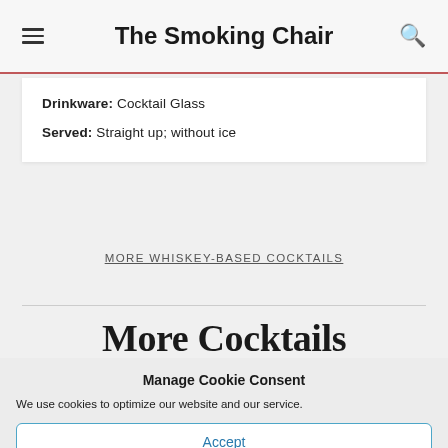The Smoking Chair
Drinkware: Cocktail Glass
Served: Straight up; without ice
MORE WHISKEY-BASED COCKTAILS
More Cocktails
Manage Cookie Consent
We use cookies to optimize our website and our service.
Accept